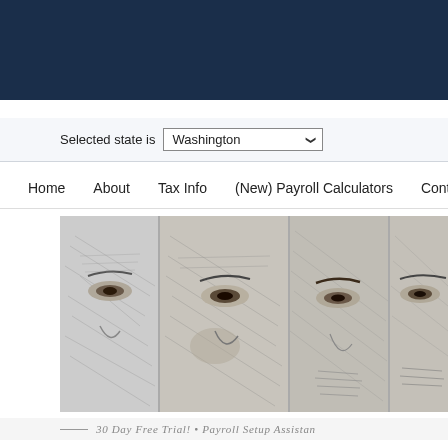[Figure (illustration): Dark navy blue website header banner]
Selected state is Washington
Home   About   Tax Info   (New) Payroll Calculators   Contact
[Figure (illustration): Engraved portrait faces of US presidents from currency bills shown in close-up, black and white crosshatch engraving style]
— 30 DAY FREE TRIAL! • PAYROLL SETUP ASSISTAN...